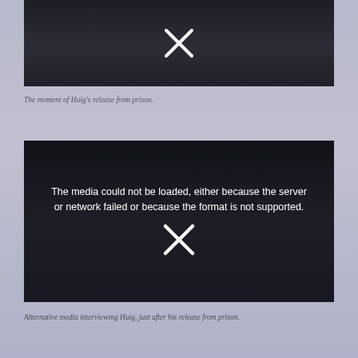[Figure (screenshot): A video player showing an error state with a dark background. The video content partially visible beneath shows people outside a building. A large X icon is displayed over the video, indicating playback failure.]
The moment of Huig's release from prison.
[Figure (screenshot): A second video player showing an error message: 'The media could not be loaded, either because the server or network failed or because the format is not supported.' Dark background with partially visible footage of people at night, one holding a sign reading #FREE HUIG PLG. A large X icon is displayed over the video.]
Alternative media interviewing Huig, just after his release from prison.